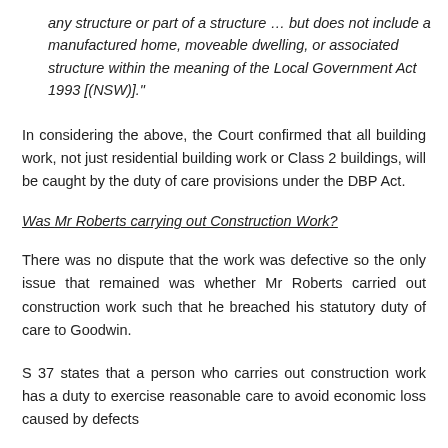any structure or part of a structure … but does not include a manufactured home, moveable dwelling, or associated structure within the meaning of the Local Government Act 1993 [(NSW)]."
In considering the above, the Court confirmed that all building work, not just residential building work or Class 2 buildings, will be caught by the duty of care provisions under the DBP Act.
Was Mr Roberts carrying out Construction Work?
There was no dispute that the work was defective so the only issue that remained was whether Mr Roberts carried out construction work such that he breached his statutory duty of care to Goodwin.
S 37 states that a person who carries out construction work has a duty to exercise reasonable care to avoid economic loss caused by defects